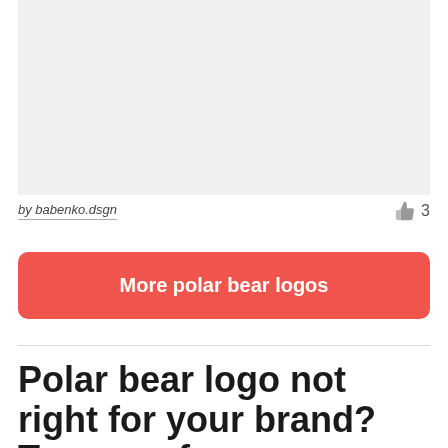[Figure (other): Gray placeholder image area at the top of the page]
by babenko.dsgn
👍 3
More polar bear logos
Polar bear logo not right for your brand? Try one of